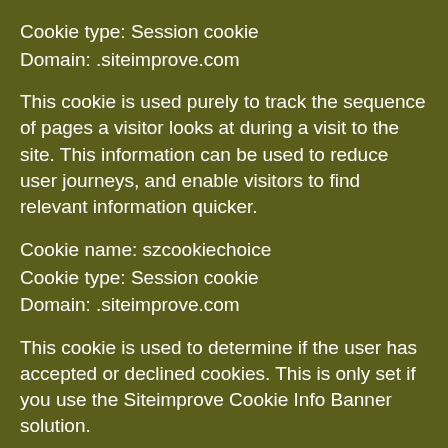Cookie type: Session cookie
Domain: .siteimprove.com
This cookie is used purely to track the sequence of pages a visitor looks at during a visit to the site. This information can be used to reduce user journeys, and enable visitors to find relevant information quicker.
Cookie name: szcookiechoice
Cookie type: Session cookie
Domain: .siteimprove.com
This cookie is used to determine if the user has accepted or declined cookies. This is only set if you use the Siteimprove Cookie Info Banner solution.
You may refuse the use of cookies by selecting the appropriate settings on your browser, however please note that if you do this you may not be able to use the full functionality of this website. By using this website, you consent to the processing of data about you by Google in…